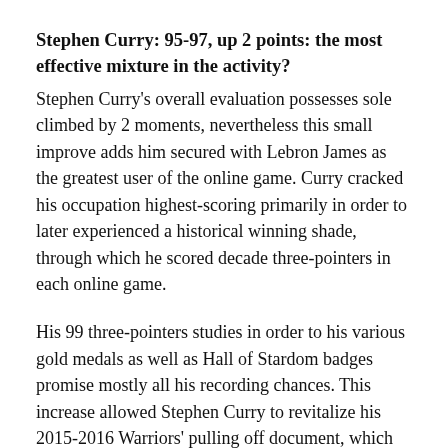Stephen Curry: 95-97, up 2 points: the most effective mixture in the activity?
Stephen Curry's overall evaluation possesses sole climbed by 2 moments, nevertheless this small improve adds him secured with Lebron James as the greatest user of the online game. Curry cracked his occupation highest-scoring primarily in order to later experienced a historical winning shade, through which he scored decade three-pointers in each online game.
His 99 three-pointers studies in order to his various gold medals as well as Hall of Stardom badges promise mostly all his recording chances. This increase allowed Stephen Curry to revitalize his 2015-2016 Warriors' pulling off document, which set up a document for the Chicago Bulls in 1995-1996. The expansion is only 2 moments, nevertheless